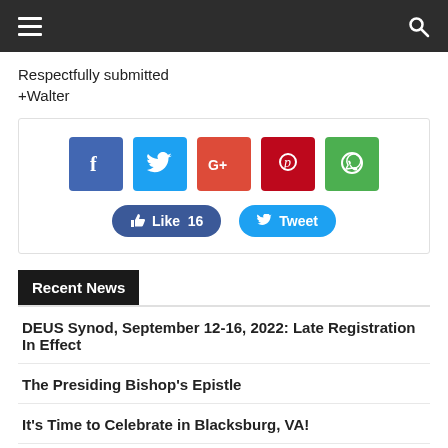Navigation bar with hamburger menu and search icon
Respectfully submitted
+Walter
[Figure (infographic): Social share widget with Facebook, Twitter, Google+, Pinterest, WhatsApp icon buttons, a Like 16 button, and a Tweet button]
Recent News
DEUS Synod, September 12-16, 2022: Late Registration In Effect
The Presiding Bishop's Epistle
It's Time to Celebrate in Blacksburg, VA!